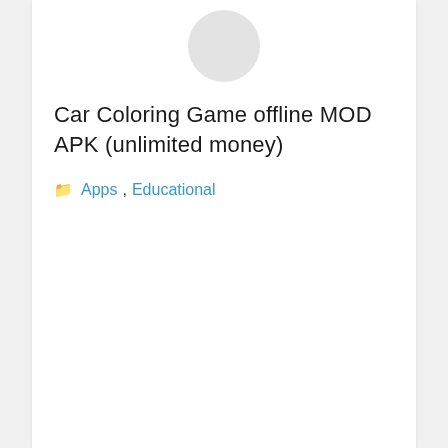[Figure (illustration): Partially visible circular app icon at the top center of the card]
Car Coloring Game offline MOD APK (unlimited money)
Apps , Educational